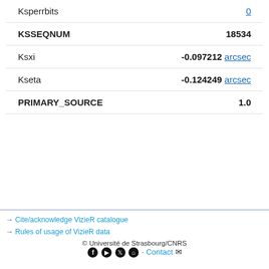| Field | Value |
| --- | --- |
| Ksperrbits | 0 |
| KSSEQNUM | 18534 |
| Ksxi | -0.097212 arcsec |
| Kseta | -0.124249 arcsec |
| PRIMARY_SOURCE | 1.0 |
→ Cite/acknowledge VizieR catalogue
→ Rules of usage of VizieR data
© Université de Strasbourg/CNRS · Contact